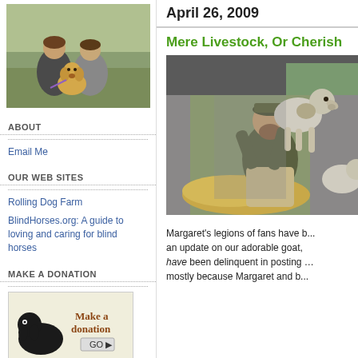[Figure (photo): Two people sitting outdoors with a yellow Labrador puppy]
ABOUT
Email Me
OUR WEB SITES
Rolling Dog Farm
BlindHorses.org: A guide to loving and caring for blind horses
MAKE A DONATION
[Figure (illustration): Make a donation button with black lab dog image and 'Make a donation GO' text]
Subscribe in a reader
SEARCH
April 26, 2009
Mere Livestock, Or Cherish
[Figure (photo): Man in barn holding a goat, with hay on the ground]
Margaret's legions of fans have b... an update on our adorable goat, ... have been delinquent in posting ... mostly because Margaret and b...